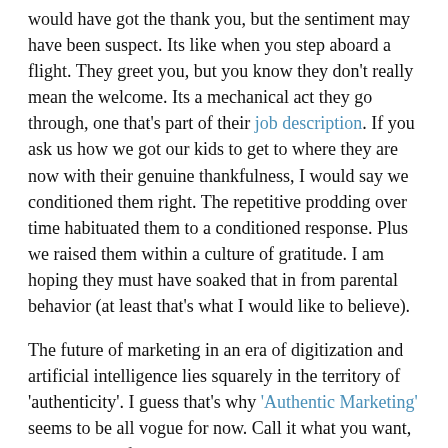would have got the thank you, but the sentiment may have been suspect. Its like when you step aboard a flight. They greet you, but you know they don't really mean the welcome. Its a mechanical act they go through, one that's part of their job description. If you ask us how we got our kids to get to where they are now with their genuine thankfulness, I would say we conditioned them right. The repetitive prodding over time habituated them to a conditioned response. Plus we raised them within a culture of gratitude. I am hoping they must have soaked that in from parental behavior (at least that's what I would like to believe).
The future of marketing in an era of digitization and artificial intelligence lies squarely in the territory of 'authenticity'. I guess that's why 'Authentic Marketing' seems to be all vogue for now. Call it what you want, genuine gratefulness and its expressions through authentic behavior is turning out to be true differentiators. If you ask me what's the difference between flying Indigo and SpiceJet, I can't for the life of me figure. Both fly you in the most blandest of manners possible. How I wish I encountered gratitude while flying. That would have sealed the deal in favor of an airline brand that expressed it!